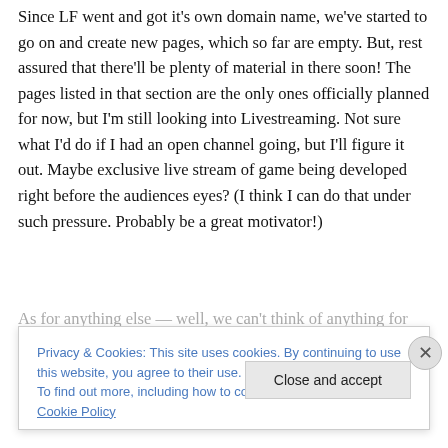Since LF went and got it's own domain name, we've started to go on and create new pages, which so far are empty. But, rest assured that there'll be plenty of material in there soon! The pages listed in that section are the only ones officially planned for now, but I'm still looking into Livestreaming. Not sure what I'd do if I had an open channel going, but I'll figure it out. Maybe exclusive live stream of game being developed right before the audiences eyes? (I think I can do that under such pressure. Probably be a great motivator!)
As for anything else — well, we can't think of anything for
Privacy & Cookies: This site uses cookies. By continuing to use this website, you agree to their use.
To find out more, including how to control cookies, see here: Cookie Policy